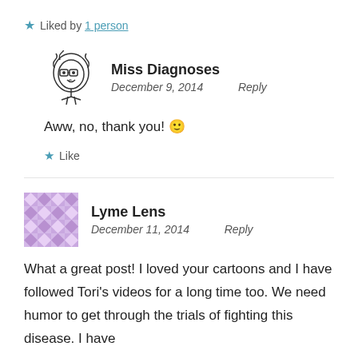★ Liked by 1 person
Miss Diagnoses
December 9, 2014   Reply
Aww, no, thank you! 🙂
★ Like
Lyme Lens
December 11, 2014   Reply
What a great post! I loved your cartoons and I have followed Tori's videos for a long time too. We need humor to get through the trials of fighting this disease. I have